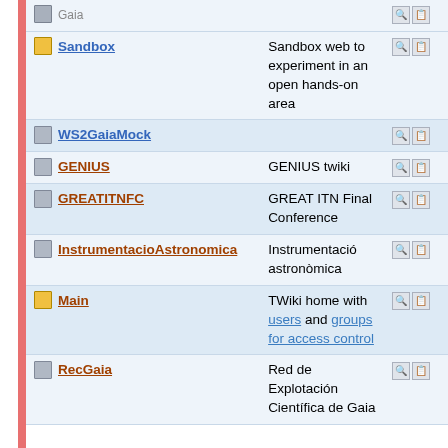| Name | Description | Actions |
| --- | --- | --- |
| Gaia |  |  |
| Sandbox | Sandbox web to experiment in an open hands-on area |  |
| WS2GaiaMock |  |  |
| GENIUS | GENIUS twiki |  |
| GREATITNFC | GREAT ITN Final Conference |  |
| InstrumentacioAstronomica | Instrumentació astronòmica |  |
| Main | TWiki home with users and groups for access control |  |
| RecGaia | Red de Explotación Científica de Gaia |  |